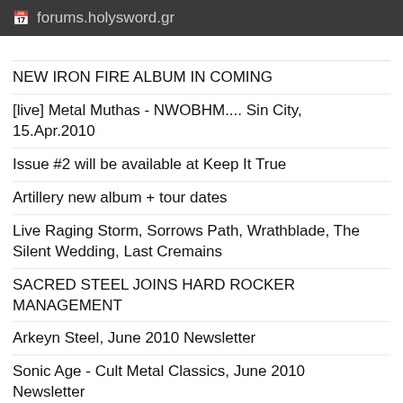forums.holysword.gr
[cut row - partial text visible at top]
NEW IRON FIRE ALBUM IN COMING
[live] Metal Muthas - NWOBHM.... Sin City, 15.Apr.2010
Issue #2 will be available at Keep It True
Artillery new album + tour dates
Live Raging Storm, Sorrows Path, Wrathblade, The Silent Wedding, Last Cremains
SACRED STEEL JOINS HARD ROCKER MANAGEMENT
Arkeyn Steel, June 2010 Newsletter
Sonic Age - Cult Metal Classics, June 2010 Newsletter
HELLISH WAR - live album to be released in June 2010
No Remorse Records - Newsletter June 2010